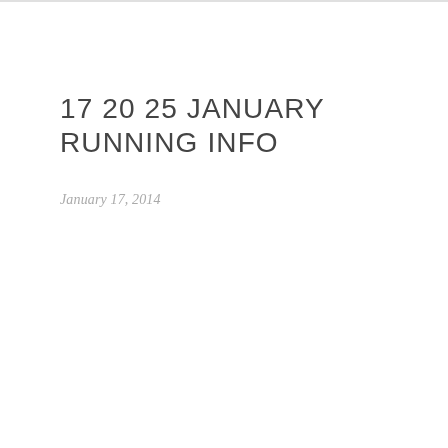17 20 25 JANUARY RUNNING INFO
January 17, 2014